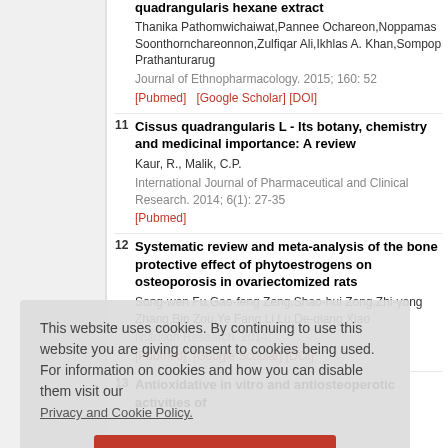quadrangularis hexane extract
Thanika Pathomwichaiwat,Pannee Ochareon,Noppamas Soonthornchareonnon,Zulfiqar Ali,Ikhlas A. Khan,Sompop Prathanturarug
Journal of Ethnopharmacology. 2015; 160: 52
[Pubmed] [Google Scholar] [DOI]
11 Cissus quadrangularis L - Its botany, chemistry and medicinal importance: A review
Kaur, R., Malik, C.P.
International Journal of Pharmaceutical and Clinical Research. 2014; 6(1): 27-35
[Pubmed]
12 Systematic review and meta-analysis of the bone protective effect of phytoestrogens on osteoporosis in ovariectomized rats
Song-wen Fu,Gao-feng Zeng,Shao-hui Zong,Zhi-yong Zhang,Bin Zou,Ye Fang,Li Lu,De-qiang Xiao
Nutrition Research. 2014;
[Pubmed] [Google Scholar] [DOI]
13 Antioxidative in vitro and antiosteoperotic activities of
This website uses cookies. By continuing to use this website you are giving consent to cookies being used. For information on cookies and how you can disable them visit our Privacy and Cookie Policy.